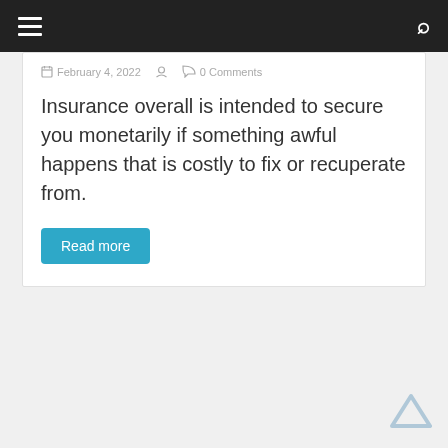≡  🔍
February 4, 2022  0 Comments
Insurance overall is intended to secure you monetarily if something awful happens that is costly to fix or recuperate from.
Read more